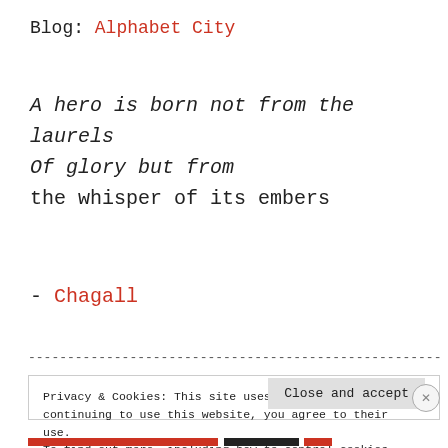Blog: Alphabet City
A hero is born not from the laurels
Of glory but from
the whisper of its embers
- Chagall
------------------------------------------------------------------------
Privacy & Cookies: This site uses cookies. By continuing to use this website, you agree to their use.
To find out more, including how to control cookies, see here:
Cookie Policy
Close and accept